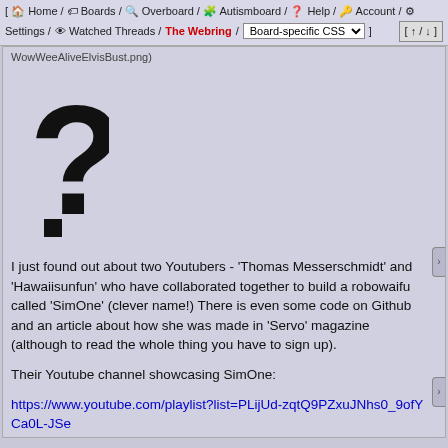[ Home / Boards / Overboard / Autismboard / Help / Account / Settings / Watched Threads / The Webring / Board-specific CSS ] [ ↑ / ↓ ]
WowWeeAliveElvisBust.png)
[Figure (other): Broken image placeholder showing a large question mark]
I just found out about two Youtubers - 'Thomas Messerschmidt' and 'Hawaiisunfun' who have collaborated together to build a robowaifu called 'SimOne' (clever name!) There is even some code on Github and an article about how she was made in 'Servo' magazine (although to read the whole thing you have to sign up).

Their Youtube channel showcasing SimOne:

https://www.youtube.com/playlist?list=PLijUd-zqtQ9PZxuJNhs0_9ofYCa0L-JSe

https://www.servomagazine.com/magazine/article/build-simone-the-ai-fembot

At one point in the second video they say that SimOne